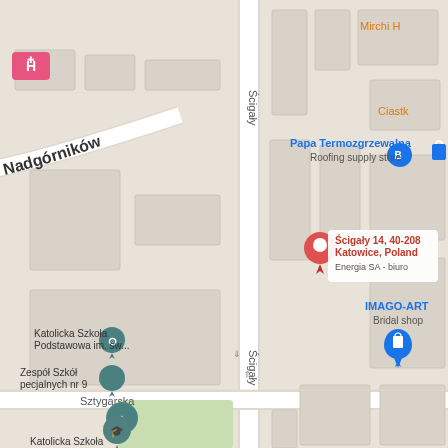[Figure (map): Google Maps screenshot showing the area around Ścigały street in Katowice, Poland. Shows streets Nadgórników and Sztygarska, with points of interest including Papa Termozgrzewalna (Roofing supply store), Mirchi H, Ciastk, Katolicka Szkoła Podstawowa im. św., Zespół Szkół pecjalnych nr 9, IMAGO-ART Bridal shop, and a location pin at Ścigały 14, 40-208 Katowice, Poland - Energia SA biuro.]